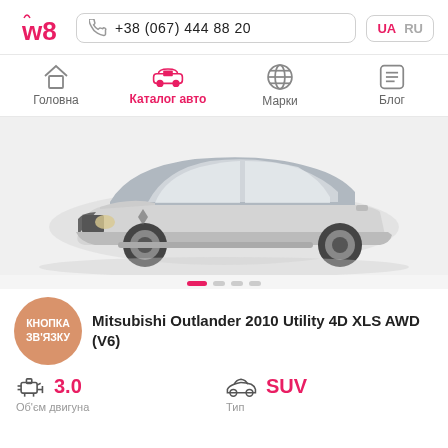[Figure (logo): w8 logo in pink/red color]
+38 (067) 444 88 20
UA  RU
Головна
Каталог авто
Марки
Блог
[Figure (photo): Mitsubishi Outlander 2010 silver SUV front-side view]
Mitsubishi Outlander 2010 Utility 4D XLS AWD (V6)
КНОПКА ЗВ'ЯЗКУ
3.0
Об'єм двигуна
SUV
Тип